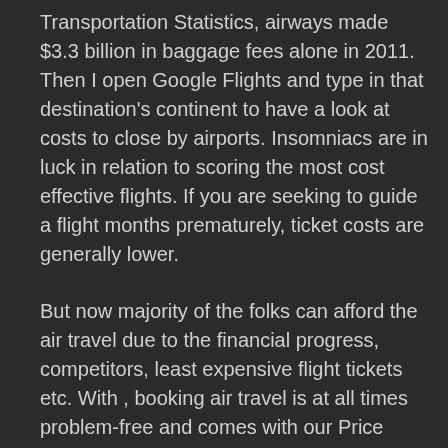Transportation Statistics, airways made $3.3 billion in baggage fees alone in 2011. Then I open Google Flights and type in that destination's continent to have a look at costs to close by airports. Insomniacs are in luck in relation to scoring the most cost effective flights. If you are seeking to guide a flight months prematurely, ticket costs are generally lower.
But now majority of the folks can afford the air travel due to the financial progress, competitors, least expensive flight tickets etc. With , booking air travel is at all times problem-free and comes with our Price Guarantee. Different components affecting airline costs include changes in gas prices, airport tax and maintenance costs. In Google Chrome or Safari, incognito is enabled by